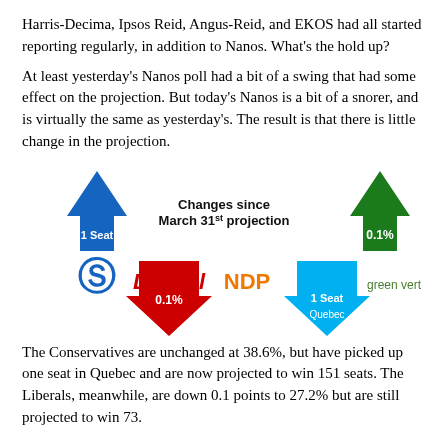Harris-Decima, Ipsos Reid, Angus-Reid, and EKOS had all started reporting regularly, in addition to Nanos. What's the hold up?
At least yesterday's Nanos poll had a bit of a swing that had some effect on the projection. But today's Nanos is a bit of a snorer, and is virtually the same as yesterday's. The result is that there is little change in the projection.
[Figure (infographic): Changes since March 31st projection: Conservative party up 1 seat, Liberal party down 0.1%, NDP no change, Bloc Québécois down 1 seat in Quebec, Green party up 0.1%]
The Conservatives are unchanged at 38.6%, but have picked up one seat in Quebec and are now projected to win 151 seats. The Liberals, meanwhile, are down 0.1 points to 27.2% but are still projected to win 73.